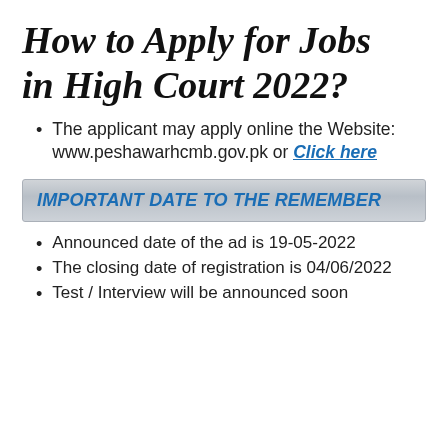How to Apply for Jobs in High Court 2022?
The applicant may apply online the Website: www.peshawarhcmb.gov.pk or Click here
IMPORTANT DATE TO THE REMEMBER
Announced date of the ad is 19-05-2022
The closing date of registration is 04/06/2022
Test / Interview will be announced soon